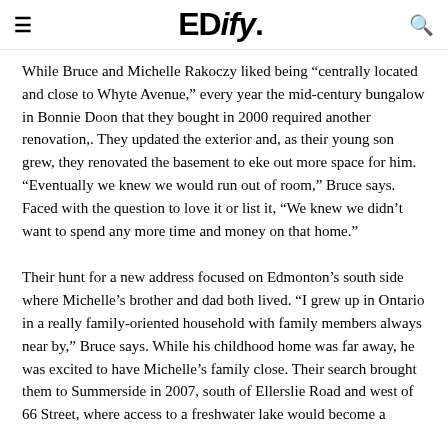EDify.
While Bruce and Michelle Rakoczy liked being “centrally located and close to Whyte Avenue,” every year the mid-century bungalow in Bonnie Doon that they bought in 2000 required another renovation,. They updated the exterior and, as their young son grew, they renovated the basement to eke out more space for him. “Eventually we knew we would run out of room,” Bruce says. Faced with the question to love it or list it, “We knew we didn’t want to spend any more time and money on that home.”
Their hunt for a new address focused on Edmonton’s south side where Michelle’s brother and dad both lived. “I grew up in Ontario in a really family-oriented household with family members always near by,” Bruce says. While his childhood home was far away, he was excited to have Michelle’s family close. Their search brought them to Summerside in 2007, south of Ellerslie Road and west of 66 Street, where access to a freshwater lake would become a